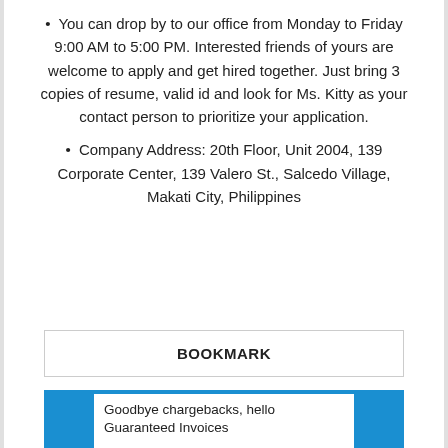You can drop by to our office from Monday to Friday 9:00 AM to 5:00 PM. Interested friends of yours are welcome to apply and get hired together. Just bring 3 copies of resume, valid id and look for Ms. Kitty as your contact person to prioritize your application.
Company Address: 20th Floor, Unit 2004, 139 Corporate Center, 139 Valero St., Salcedo Village, Makati City, Philippines
BOOKMARK
Goodbye chargebacks, hello Guaranteed Invoices